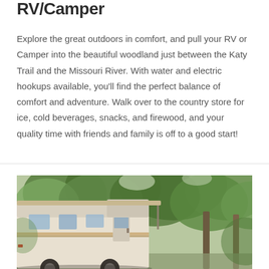RV/Camper
Explore the great outdoors in comfort, and pull your RV or Camper into the beautiful woodland just between the Katy Trail and the Missouri River. With water and electric hookups available, you'll find the perfect balance of comfort and adventure. Walk over to the country store for ice, cold beverages, snacks, and firewood, and your quality time with friends and family is off to a good start!
[Figure (photo): A white/beige fifth-wheel RV or camper trailer parked under large green leafy trees in a woodland campsite setting. The awning is extended. Trees with lush green foliage fill the background.]